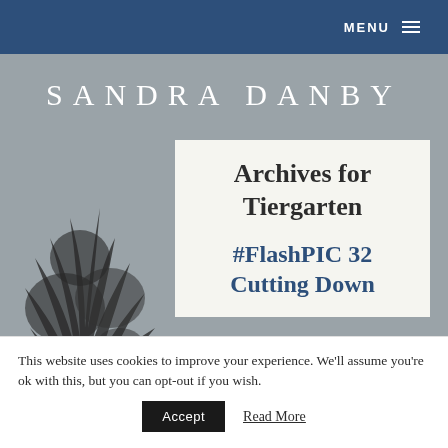MENU ≡
[Figure (screenshot): Grey background with black-and-white tree silhouette on the left side]
SANDRA DANBY
Archives for Tiergarten
#FlashPIC 32 Cutting Down
This website uses cookies to improve your experience. We'll assume you're ok with this, but you can opt-out if you wish.
Accept   Read More